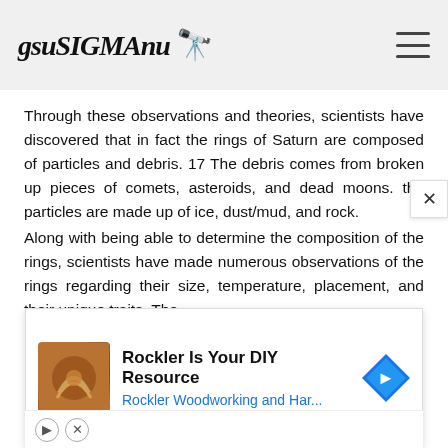gsuSIGMAnu 🔭
Through these observations and theories, scientists have discovered that in fact the rings of Saturn are composed of particles and debris. 17 The debris comes from broken up pieces of comets, asteroids, and dead moons. the particles are made up of ice, dust/mud, and rock.
Along with being able to determine the composition of the rings, scientists have made numerous observations of the rings regarding their size, temperature, placement, and their unique traits. The
[Figure (other): Advertisement banner: Rockler Is Your DIY Resource - Rockler Woodworking and Har... with woodworking logo image and blue navigation icon]